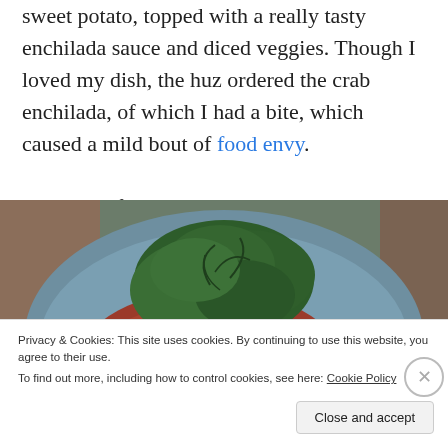sweet potato, topped with a really tasty enchilada sauce and diced veggies. Though I loved my dish, the huz ordered the crab enchilada, of which I had a bite, which caused a mild bout of food envy.

Going out for lunch on the weekends always seems like such a treat to me, for some reason. I like it. 🙂
[Figure (photo): A plate of food on a blue/grey ceramic dish, showing pieces of white vegetable (possibly jicama or potato) with red sauce and fresh green cilantro/herb leaves on top.]
Privacy & Cookies: This site uses cookies. By continuing to use this website, you agree to their use.
To find out more, including how to control cookies, see here: Cookie Policy